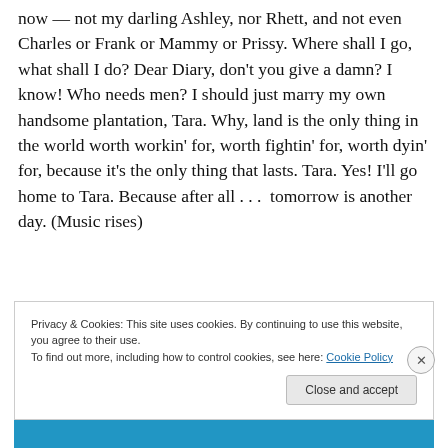now — not my darling Ashley, nor Rhett, and not even Charles or Frank or Mammy or Prissy. Where shall I go, what shall I do? Dear Diary, don't you give a damn? I know! Who needs men? I should just marry my own handsome plantation, Tara. Why, land is the only thing in the world worth workin' for, worth fightin' for, worth dyin' for, because it's the only thing that lasts. Tara. Yes! I'll go home to Tara. Because after all . . .  tomorrow is another day. (Music rises)
Privacy & Cookies: This site uses cookies. By continuing to use this website, you agree to their use.
To find out more, including how to control cookies, see here: Cookie Policy